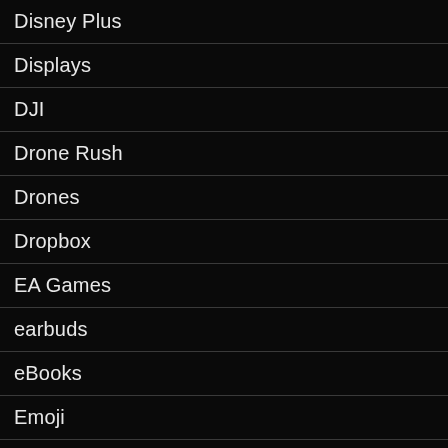Disney Plus
Displays
DJI
Drone Rush
Drones
Dropbox
EA Games
earbuds
eBooks
Emoji
EMUI
Emulator
Epic Games